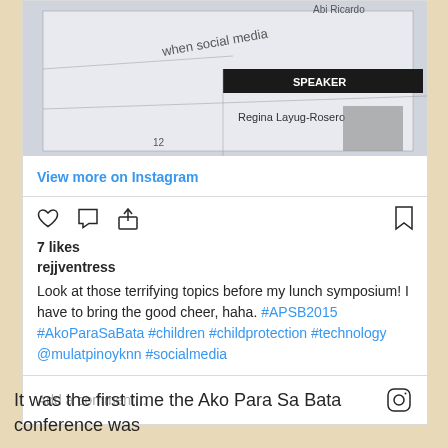[Figure (screenshot): Instagram post screenshot showing a photo of event program/schedule with text 'when social media', 'SPEAKER', 'Regina Layug-Rosero' visible on printed materials]
View more on Instagram
7 likes
rejjventress
Look at those terrifying topics before my lunch symposium! I have to bring the good cheer, haha. #APSB2015 #AkoParaSaBata #children #childprotection #technology @mulatpinoyknn #socialmedia
Add a comment...
It was the first time the Ako Para Sa Bata conference was